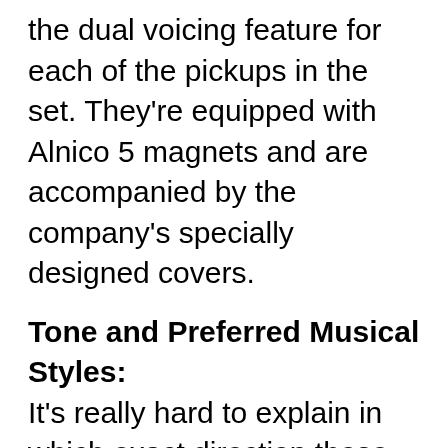the dual voicing feature for each of the pickups in the set. They're equipped with Alnico 5 magnets and are accompanied by the company's specially designed covers.
Tone and Preferred Musical Styles:
It's really hard to explain in which exact direction these pickups are heading. Although usually bearing a lot of higher mids and high-ends in the mixture, which is somewhat unexpected for humbucker pickups, they are capable of diving into any sonic territories that you'd want them to. This is made easier using the voicing control that changes